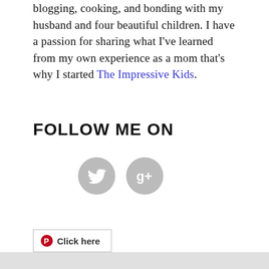blogging, cooking, and bonding with my husband and four beautiful children. I have a passion for sharing what I've learned from my own experience as a mom that's why I started The Impressive Kids.
FOLLOW ME ON
[Figure (illustration): Two circular grey social media icons: Twitter bird icon and Google+ icon]
[Figure (illustration): Pinterest button with red Pinterest logo icon and text 'Click here']